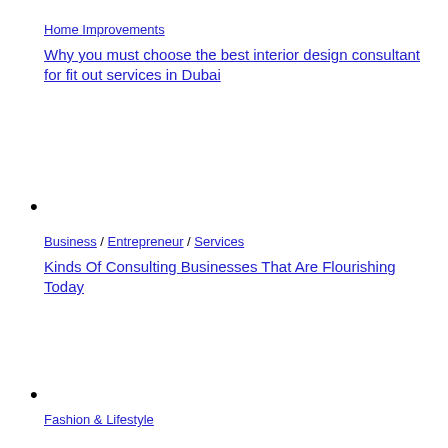Home Improvements
Why you must choose the best interior design consultant for fit out services in Dubai
Business / Entrepreneur / Services
Kinds Of Consulting Businesses That Are Flourishing Today
Fashion & Lifestyle